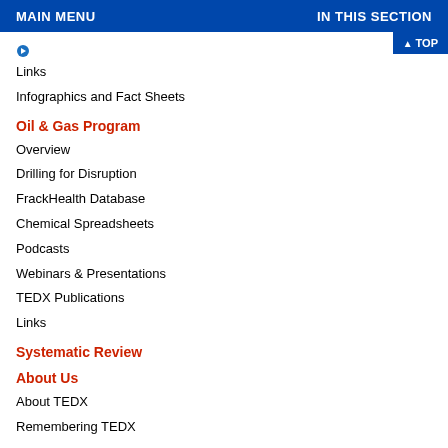MAIN MENU    IN THIS SECTION
Links
Infographics and Fact Sheets
Oil & Gas Program
Overview
Drilling for Disruption
FrackHealth Database
Chemical Spreadsheets
Podcasts
Webinars & Presentations
TEDX Publications
Links
Systematic Review
About Us
About TEDX
Remembering TEDX